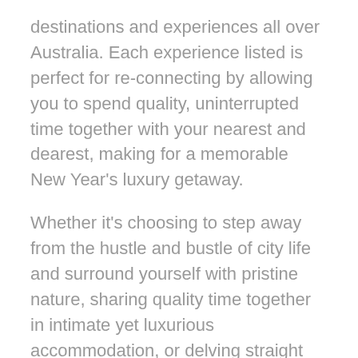destinations and experiences all over Australia. Each experience listed is perfect for re-connecting by allowing you to spend quality, uninterrupted time together with your nearest and dearest, making for a memorable New Year's luxury getaway.
Whether it's choosing to step away from the hustle and bustle of city life and surround yourself with pristine nature, sharing quality time together in intimate yet luxurious accommodation, or delving straight into the heart of the city's festivities to create new memories together, there's no shortage of inspiration for your next journey to Australia over the end of year festive season.
With a wealth of industry knowledge, our